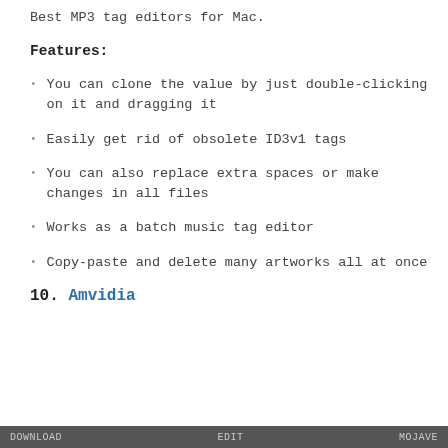Best MP3 tag editors for Mac.
Features:
You can clone the value by just double-clicking on it and dragging it
Easily get rid of obsolete ID3v1 tags
You can also replace extra spaces or make changes in all files
Works as a batch music tag editor
Copy-paste and delete many artworks all at once
10. Amvidia
DOWNLOAD   EDIT   MOJAVE